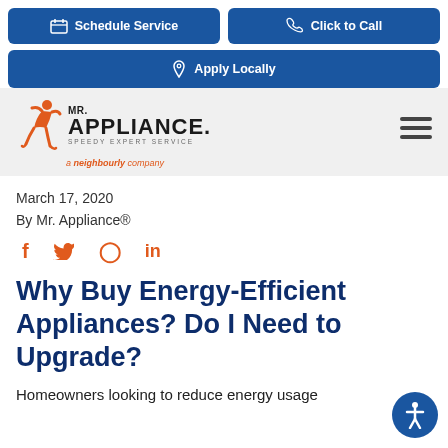Schedule Service | Click to Call
Apply Locally
[Figure (logo): Mr. Appliance logo with running figure in orange, text 'MR. APPLIANCE. SPEEDY EXPERT SERVICE', and 'a neighbourly company' tagline below]
March 17, 2020
By Mr. Appliance®
[Figure (infographic): Social share icons: Facebook (f), Twitter bird, Pinterest (p), LinkedIn (in) in orange]
Why Buy Energy-Efficient Appliances? Do I Need to Upgrade?
Homeowners looking to reduce energy usage